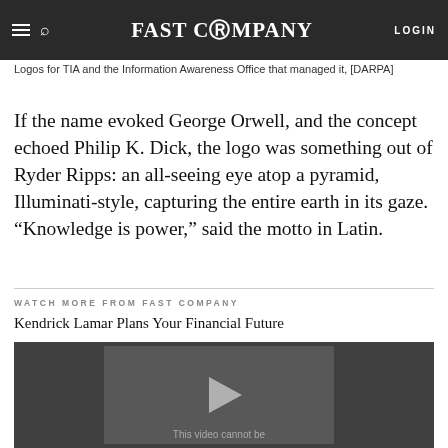FAST COMPANY | LOGIN
Logos for TIA and the Information Awareness Office that managed it, [DARPA]
If the name evoked George Orwell, and the concept echoed Philip K. Dick, the logo was something out of Ryder Ripps: an all-seeing eye atop a pyramid, Illuminati-style, capturing the entire earth in its gaze. “Knowledge is power,” said the motto in Latin.
WATCH MORE FROM FAST COMPANY
Kendrick Lamar Plans Your Financial Future
[Figure (screenshot): Video thumbnail with dark background, play button arrow, and text 'This video cannot be']